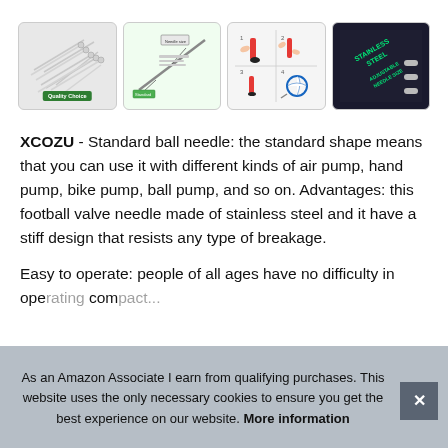[Figure (photo): Row of four product images: (1) pile of stainless steel ball needles with 'Quality Choice' badge, (2) green-background diagram of a needle with annotations, (3) four-panel usage guide for a red pump with ball, (4) dark background with 'STAINLESS STEEL ADJUSTABLE NEEDLE SIZE' text and needle close-up]
XCOZU - Standard ball needle: the standard shape means that you can use it with different kinds of air pump, hand pump, bike pump, ball pump, and so on. Advantages: this football valve needle made of stainless steel and it have a stiff design that resists any type of breakage.
Easy to operate: people of all ages have no difficulty in ope[rating the] com[pact design...]
As an Amazon Associate I earn from qualifying purchases. This website uses the only necessary cookies to ensure you get the best experience on our website. More information